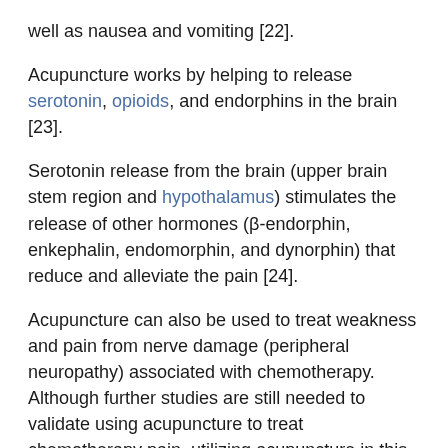well as nausea and vomiting [22].
Acupuncture works by helping to release serotonin, opioids, and endorphins in the brain [23].
Serotonin release from the brain (upper brain stem region and hypothalamus) stimulates the release of other hormones (β-endorphin, enkephalin, endomorphin, and dynorphin) that reduce and alleviate the pain [24].
Acupuncture can also be used to treat weakness and pain from nerve damage (peripheral neuropathy) associated with chemotherapy. Although further studies are still needed to validate using acupuncture to treat chemotherapy pain, utilizing acupuncture in this area seems promising [25].